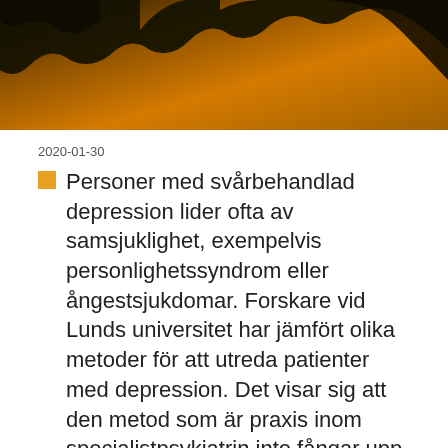[Figure (photo): Silhouette of a person against an orange/dark background, partially cropped at top]
2020-01-30
Personer med svårbehandlad depression lider ofta av samsjuklighet, exempelvis personlighetssyndrom eller ångestsjukdomar. Forskare vid Lunds universitet har jämfört olika metoder för att utreda patienter med depression. Det visar sig att den metod som är praxis inom specialistpsykiatrin inte fångar upp
Den här webbplatsen använder cookies. Genom att fortsätta använda webbplatsen samtycker du till att cookies används. Mer information om cookies finns här.
Inställningar
Godkänn